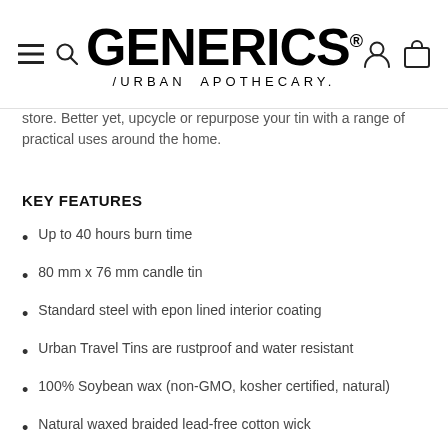GENERICS® /URBAN APOTHECARY.
store. Better yet, upcycle or repurpose your tin with a range of practical uses around the home.
KEY FEATURES
Up to 40 hours burn time
80 mm x 76 mm candle tin
Standard steel with epon lined interior coating
Urban Travel Tins are rustproof and water resistant
100% Soybean wax (non-GMO, kosher certified, natural)
Natural waxed braided lead-free cotton wick